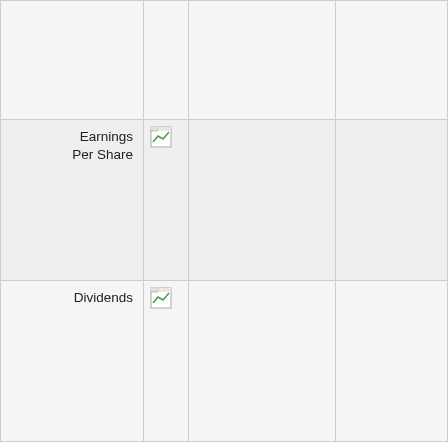|  |  |  |  |
| Earnings Per Share | [chart] |  |  |
| Dividends | [chart] |  |  |